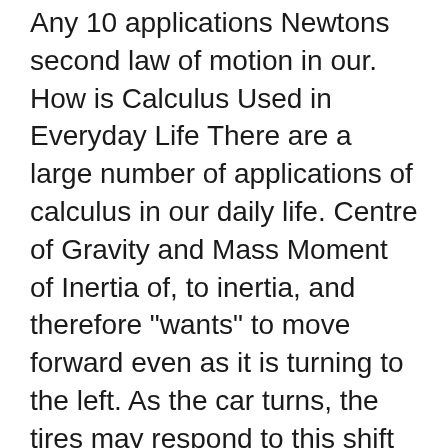Any 10 applications Newtons second law of motion in our. How is Calculus Used in Everyday Life There are a large number of applications of calculus in our daily life. Centre of Gravity and Mass Moment of Inertia of, to inertia, and therefore "wants" to move forward even as it is turning to the left. As the car turns, the tires may respond to this shift in direction.
Newtons First Law Examples of Newtons First Law Edu
10 Examples Of Physics In Everyday Life вЂ" StudiousGuy. This law of Newton applies to real life, being one of the laws of physics that impacts most in our